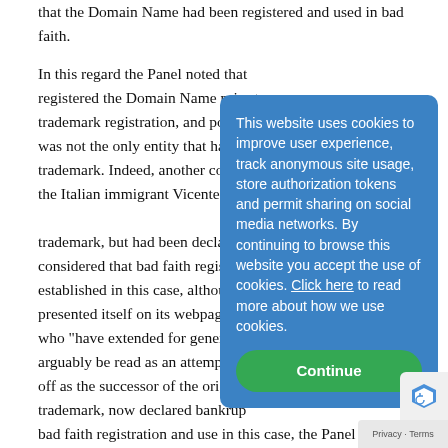that the Domain Name had been registered and used in bad faith.
In this regard the Panel noted that registered the Domain Name prior to trademark registration, and pointed that was not the only entity that had used the trademark. Indeed, another company founded by the Italian immigrant Vicente Fili had also used the LA trademark, but had been declared bankrupt. The Panel considered that bad faith registration and use could be established in this case, although the respondent presented itself on its webpage as a family business who "have extended for generations", which could arguably be read as an attempt by to pass itself off as the successor of the original holder of the trademark, now declared bankrupt. In assessing bad faith registration and use in this case, the Panel found that
This website uses cookies to improve user experience, track anonymous site usage, store authorization tokens and permit sharing on social media networks. By continuing to browse this website you accept the use of cookies. Click here to read more about how we use cookies.
Continue